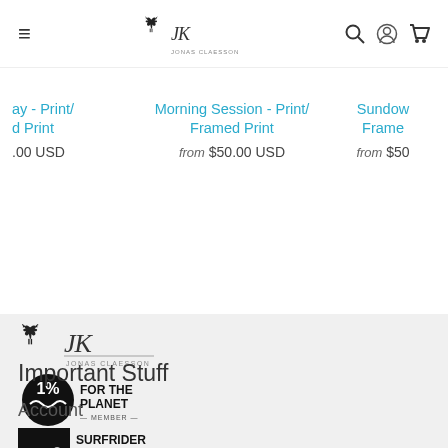Navigation bar with hamburger menu, Jonas Claesson logo, search/account/cart icons
ay - Print/ d Print .00 USD
Morning Session - Print/ Framed Print from $50.00 USD
Sundow Framer from $50
[Figure (logo): Jonas Claesson brand logo with deer silhouette and signature script]
[Figure (logo): 1% For The Planet Member logo - black circle with 1% text]
[Figure (logo): Surfrider Foundation Australia logo]
Important Stuff
Account